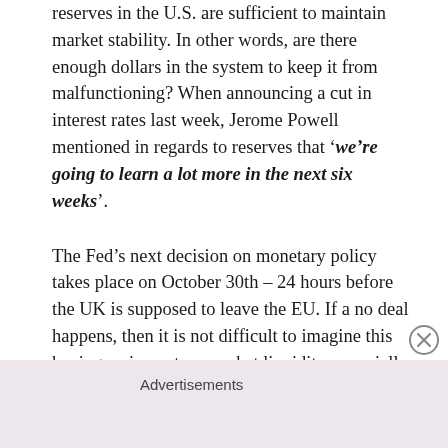reserves in the U.S. are sufficient to maintain market stability. In other words, are there enough dollars in the system to keep it from malfunctioning? When announcing a cut in interest rates last week, Jerome Powell mentioned in regards to reserves that 'we're going to learn a lot more in the next six weeks'.
The Fed's next decision on monetary policy takes place on October 30th – 24 hours before the UK is supposed to leave the EU. If a no deal happens, then it is not difficult to imagine this having an impact on market liquidity, especially if traders were to re-position funds into alternative currencies or be forced to liquidate holdings for cash.
Advertisements